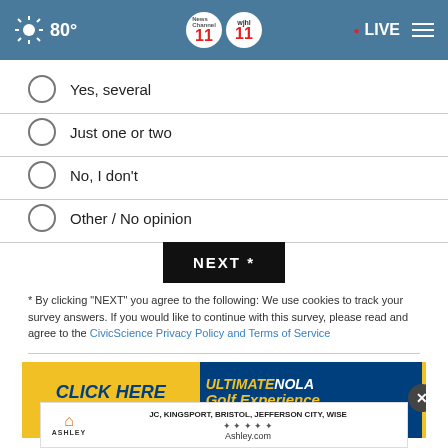80° News Channel 11 WJHL 11 • LIVE
Yes, several
Just one or two
No, I don't
Other / No opinion
NEXT *
* By clicking "NEXT" you agree to the following: We use cookies to track your survey answers. If you would like to continue with this survey, please read and agree to the CivicScience Privacy Policy and Terms of Service
[Figure (photo): Advertisement banner: CLICK HERE TO BUY! ULTIMATE NOLA Golf Experience ARD with close button]
[Figure (logo): Ashley furniture store ad: JC, KINGSPORT, BRISTOL, JEFFERSON CITY, WISE - Ashley.com]
TOP STORIES